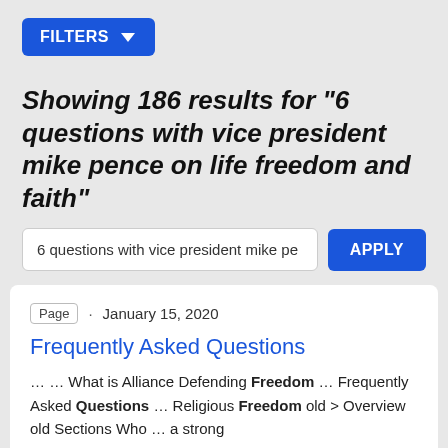[Figure (other): Blue FILTERS button with funnel/triangle icon]
Showing 186 results for "6 questions with vice president mike pence on life freedom and faith"
6 questions with vice president mike pe
[Figure (other): Blue APPLY button]
Page · January 15, 2020
Frequently Asked Questions
… … What is Alliance Defending Freedom … Frequently Asked Questions … Religious Freedom old > Overview old Sections Who … a strong